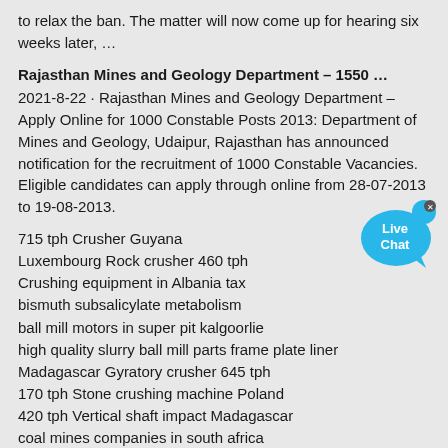to relax the ban. The matter will now come up for hearing six weeks later, …
Rajasthan Mines and Geology Department – 1550 …
2021-8-22 · Rajasthan Mines and Geology Department – Apply Online for 1000 Constable Posts 2013: Department of Mines and Geology, Udaipur, Rajasthan has announced notification for the recruitment of 1000 Constable Vacancies. Eligible candidates can apply through online from 28-07-2013 to 19-08-2013.
715 tph Crusher Guyana
Luxembourg Rock crusher 460 tph
Crushing equipment in Albania tax
bismuth subsalicylate metabolism
ball mill motors in super pit kalgoorlie
high quality slurry ball mill parts frame plate liner
Madagascar Gyratory crusher 645 tph
170 tph Stone crushing machine Poland
420 tph Vertical shaft impact Madagascar
coal mines companies in south africa
Silica Crusher Beneficiation
Nigeria 845 tph Mining crusher
Swaziland Jaw crusher 335 tph
Paraguay 375 tph Mobile crusher
clinker grinding unit price in india
beneficiation of white iron ore